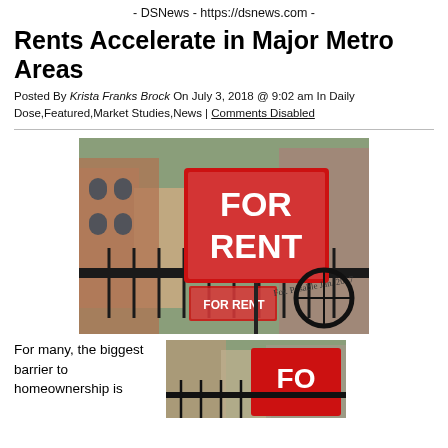- DSNews - https://dsnews.com -
Rents Accelerate in Major Metro Areas
Posted By Krista Franks Brock On July 3, 2018 @ 9:02 am In Daily Dose,Featured,Market Studies,News | Comments Disabled
[Figure (photo): A 'FOR RENT' sign in front of a residential building with iron fence and brick buildings in the background]
For many, the biggest barrier to homeownership is
[Figure (photo): A second photo showing a 'FOR RENT' sign, similar scene with buildings in background]